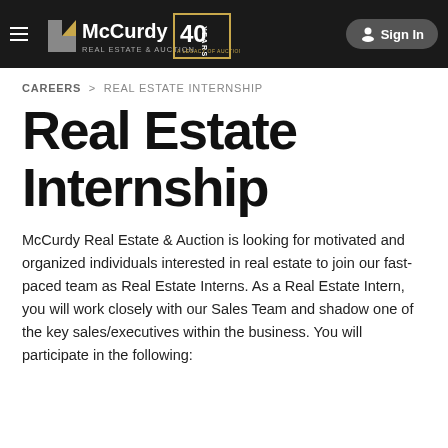McCurdy Real Estate & Auction | 40 Years A Legacy of Auction | Sign In
CAREERS > REAL ESTATE INTERNSHIP
Real Estate Internship
McCurdy Real Estate & Auction is looking for motivated and organized individuals interested in real estate to join our fast-paced team as Real Estate Interns. As a Real Estate Intern, you will work closely with our Sales Team and shadow one of the key sales/executives within the business. You will participate in the following: